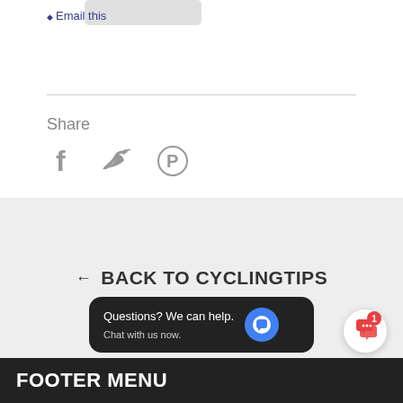Email this
Share
[Figure (illustration): Social share icons: Facebook (f), Twitter (bird), Pinterest (P)]
← BACK TO CYCLINGTIPS
[Figure (screenshot): Chat popup: 'Questions? We can help. Chat with us now.' with blue chat icon]
FOOTER MENU